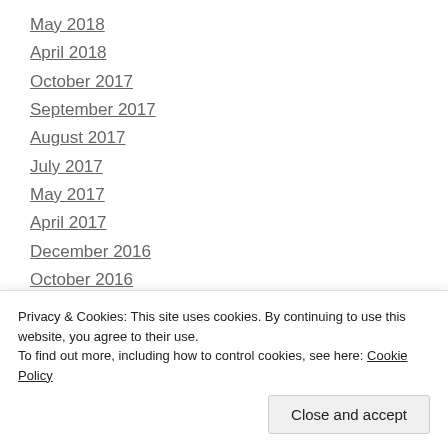May 2018
April 2018
October 2017
September 2017
August 2017
July 2017
May 2017
April 2017
December 2016
October 2016
September 2016
August 2016
Privacy & Cookies: This site uses cookies. By continuing to use this website, you agree to their use.
To find out more, including how to control cookies, see here: Cookie Policy